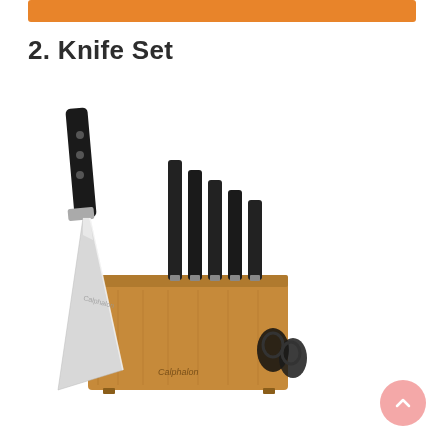[Figure (other): Orange horizontal bar at the top of the section]
2. Knife Set
[Figure (photo): Calphalon knife set with wooden block containing multiple knives with black handles, a large chef's knife displayed in front, and scissors in the block]
[Figure (other): Pink circular scroll-to-top button with upward chevron arrow in the bottom right corner]